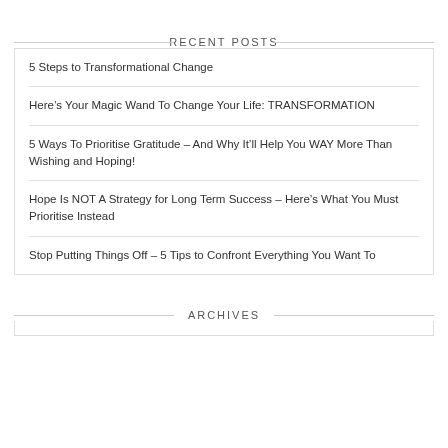RECENT POSTS
5 Steps to Transformational Change
Here’s Your Magic Wand To Change Your Life: TRANSFORMATION
5 Ways To Prioritise Gratitude – And Why It’ll Help You WAY More Than Wishing and Hoping!
Hope Is NOT A Strategy for Long Term Success – Here’s What You Must Prioritise Instead
Stop Putting Things Off – 5 Tips to Confront Everything You Want To
ARCHIVES